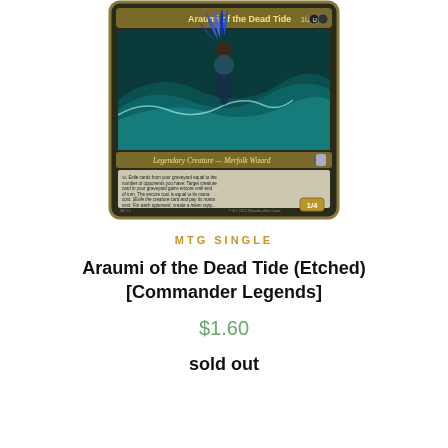[Figure (photo): Magic: The Gathering card — Araumi of the Dead Tide (Etched), an extended art legendary creature Merfolk Wizard card from Commander Legends, showing a figure rising from ocean waves with blue feathered hair. Card stats 1/4, cost 1UB, set number 387.]
MTG SINGLE
Araumi of the Dead Tide (Etched) [Commander Legends]
$1.60
sold out